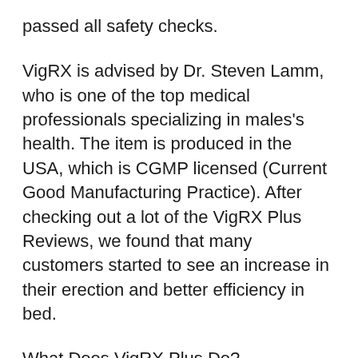passed all safety checks.
VigRX is advised by Dr. Steven Lamm, who is one of the top medical professionals specializing in males's health. The item is produced in the USA, which is CGMP licensed (Current Good Manufacturing Practice). After checking out a lot of the VigRX Plus Reviews, we found that many customers started to see an increase in their erection and better efficiency in bed.
What Does VigRX Plus Do?
VigRX is made up of natural active ingredients that aim in enhancing the sexual efficiency of a guys's body. It does not consist of any steroids that may obstruct your health in the future. It likewise supplies